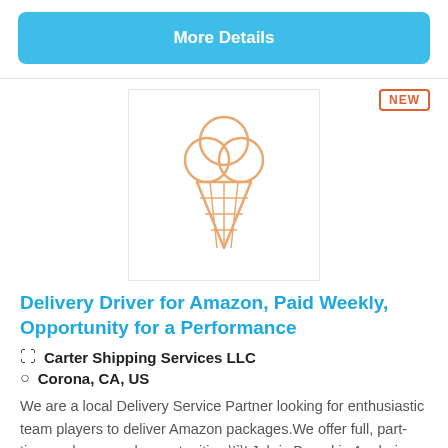More Details
[Figure (illustration): Ice cream cone icon in orange/amber outline style]
Delivery Driver for Amazon, Paid Weekly, Opportunity for a Performance
Carter Shipping Services LLC
Corona, CA, US
We are a local Delivery Service Partner looking for enthusiastic team players to deliver Amazon packages.We offer full, part-time and seasonal opportunities.\'\`\' Job is Based in Anaheim, CA